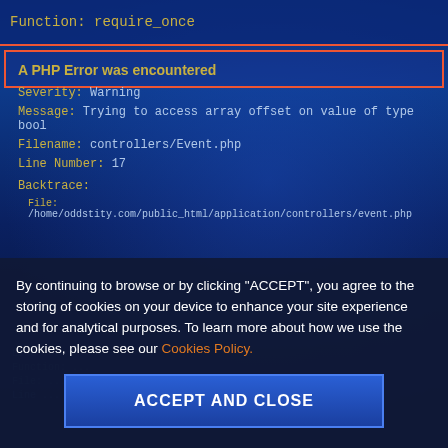Function: require_once
A PHP Error was encountered
Severity: Warning
Message: Trying to access array offset on value of type bool
Filename: controllers/Event.php
Line Number: 17
Backtrace:
File: /home/oddstity.com/public_html/application/controllers/event.php
By continuing to browse or by clicking "ACCEPT", you agree to the storing of cookies on your device to enhance your site experience and for analytical purposes. To learn more about how we use the cookies, please see our Cookies Policy.
ACCEPT AND CLOSE